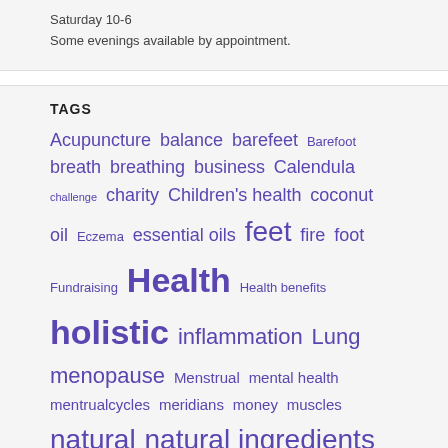Saturday 10-6
Some evenings available by appointment.
TAGS
Acupuncture balance barefeet Barefoot breath breathing business Calendula challenge charity Children's health coconut oil Eczema essential oils feet fire foot Fundraising Health Health benefits holistic inflammation Lung menopause Menstrual mental health mentrualcycles meridians money muscles natural natural ingredients Neal's Yard Remedies Nutrition NYRO NYROrganic Oat oil organic pain Pain